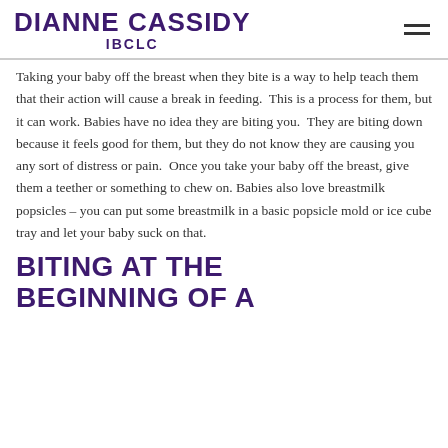DIANNE CASSIDY IBCLC
Taking your baby off the breast when they bite is a way to help teach them that their action will cause a break in feeding.  This is a process for them, but it can work. Babies have no idea they are biting you.  They are biting down because it feels good for them, but they do not know they are causing you any sort of distress or pain.  Once you take your baby off the breast, give them a teether or something to chew on. Babies also love breastmilk popsicles – you can put some breastmilk in a basic popsicle mold or ice cube tray and let your baby suck on that.
BITING AT THE BEGINNING OF A